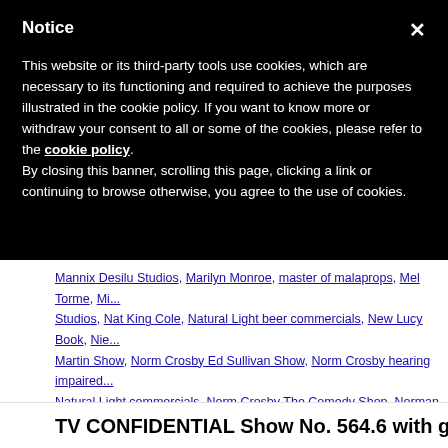Notice
This website or its third-party tools use cookies, which are necessary to its functioning and required to achieve the purposes illustrated in the cookie policy. If you want to know more or withdraw your consent to all or some of the cookies, please refer to the cookie policy.
By closing this banner, scrolling this page, clicking a link or continuing to browse otherwise, you agree to the use of cookies.
Mannix Desilu Studios, Marilyn Monroe, master of malaprops, Mel Torme, Mi... Studios, Nat King Cole, Natural Light beer commercials, New Lucy Book, Nie... Martin Show, Norm Crosby Ed Sullivan Show, Norm Crosby hearing impaired..., Natural Light commercials, Norm Crosby The Comedy Shop, Norman Granz,..., rags to riches, Rich Little, Ruta Lee, Savoy Ballroom, show business raconte... Allen, The Comedy Shop TV series, The New Lucy Book, Too Close for Com... comment
TV CONFIDENTIAL Show No. 564.6 with g...